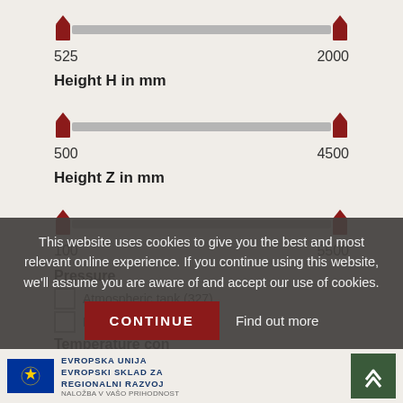[Figure (infographic): Range slider for Height H in mm, from 525 to 2000. Left and right handles shown at both ends of a grey track.]
525
2000
Height H in mm
[Figure (infographic): Range slider for Height Z in mm, from 500 to 4500. Left and right handles shown at both ends of a grey track.]
500
4500
Height Z in mm
[Figure (infographic): Range slider from 100 to 5500. Left and right handles shown at both ends of a grey track.]
100
5500
Pressure
Atmospheric tank (327)
Pressure tank (12)
Temperature con
no (190)
This website uses cookies to give you the best and most relevant online experience. If you continue using this website, we'll assume you are aware of and accept our use of cookies.
CONTINUE
Find out more